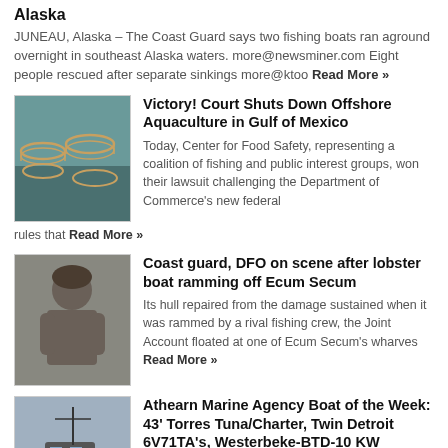Alaska
JUNEAU, Alaska – The Coast Guard says two fishing boats ran aground overnight in southeast Alaska waters. more@newsminer.com Eight people rescued after separate sinkings more@ktoo Read More »
[Figure (photo): Offshore aquaculture cages floating in water]
Victory! Court Shuts Down Offshore Aquaculture in Gulf of Mexico
Today, Center for Food Safety, representing a coalition of fishing and public interest groups, won their lawsuit challenging the Department of Commerce's new federal rules that Read More »
[Figure (photo): Person associated with lobster boat ramming story]
Coast guard, DFO on scene after lobster boat ramming off Ecum Secum
Its hull repaired from the damage sustained when it was rammed by a rival fishing crew, the Joint Account floated at one of Ecum Secum's wharves Read More »
[Figure (photo): Fishing/charter boat on water]
Athearn Marine Agency Boat of the Week: 43' Torres Tuna/Charter, Twin Detroit 6V71TA's, Westerbeke-BTD-10 KW Generator
Specifications, information and 48 photos click here To see all the boats in this series. Click here 43.51 Read More »